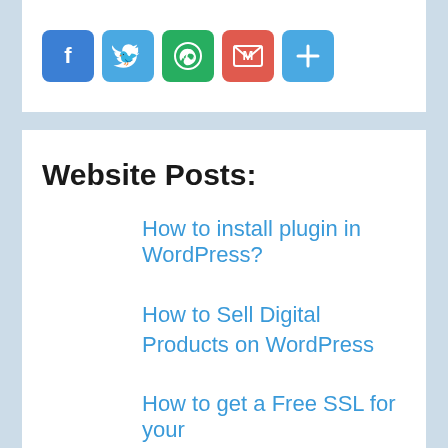[Figure (infographic): Social share buttons: Facebook (blue), Twitter (light blue), WhatsApp (green), Gmail (red), Share/More (blue plus icon)]
Website Posts:
How to install plugin in WordPress?
How to Sell Digital Products on WordPress
How to get a Free SSL for your